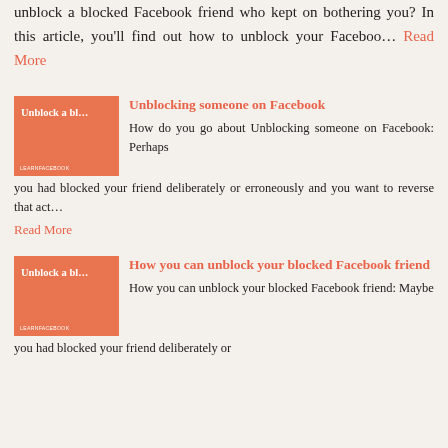unblock a blocked Facebook friend who kept on bothering you? In this article, you'll find out how to unblock your Faceboo... Read More
[Figure (illustration): Thumbnail image with salmon/orange background showing 'Unblock a bl...' text in white with 'LEARNFACEBOOK' at the bottom]
Unblocking someone on Facebook
How do you go about Unblocking someone on Facebook: Perhaps you had blocked your friend deliberately or erroneously and you want to reverse that act...
Read More
[Figure (illustration): Thumbnail image with salmon/orange background showing 'Unblock a bl...' text in white with 'LEARNFACEBOOK' at the bottom]
How you can unblock your blocked Facebook friend
How you can unblock your blocked Facebook friend: Maybe you had blocked your friend deliberately or